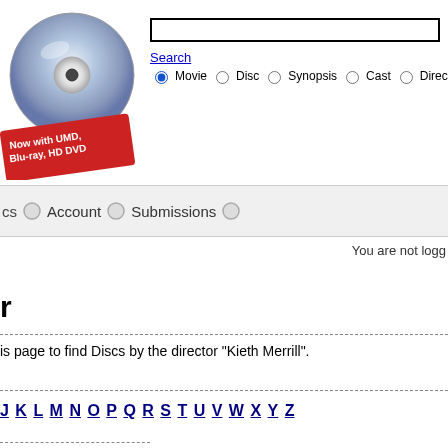[Figure (logo): DVD disc logo with 'Now with UMD, Blu-ray, HD DVD' stamp text]
[Figure (screenshot): Search input box]
Search
Movie  Disc  Synopsis  Cast  Director  Ba...
Account   Submissions
You are not logged
r
is page to find Discs by the director "Kieth Merrill".
J K L M N O P Q R S T U V W X Y Z